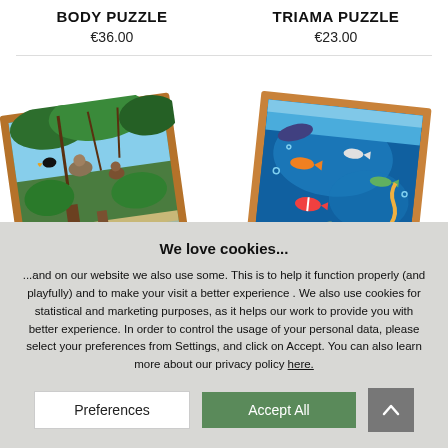BODY PUZZLE
€36.00
TRIAMA PUZZLE
€23.00
[Figure (photo): A jigsaw puzzle with a jungle/rainforest scene featuring animals, tilted at an angle with a wooden frame]
[Figure (photo): A jigsaw puzzle with an underwater ocean scene featuring fish and coral, tilted at an angle with a wooden frame]
We love cookies... ...and on our website we also use some. This is to help it function properly (and playfully) and to make your visit a better experience . We also use cookies for statistical and marketing purposes, as it helps our work to provide you with better experience. In order to control the usage of your personal data, please select your preferences from Settings, and click on Accept. You can also learn more about our privacy policy here.
Preferences
Accept All